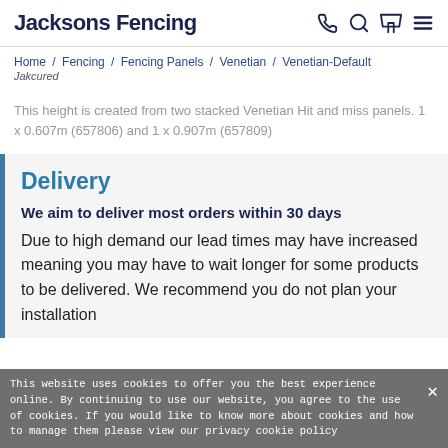Jacksons Fencing
Home / Fencing / Fencing Panels / Venetian / Venetian-Default
Jakcured
This height is created from two stacked Venetian Hit and miss panels. 1 x 0.607m (657806) and 1 x 0.907m (657809)
Delivery
We aim to deliver most orders within 30 days
Due to high demand our lead times may have increased meaning you may have to wait longer for some products to be delivered. We recommend you do not plan your installation
This website uses cookies to offer you the best experience online. By continuing to use our website, you agree to the use of cookies. If you would like to know more about cookies and how to manage them please view our privacy cookie policy